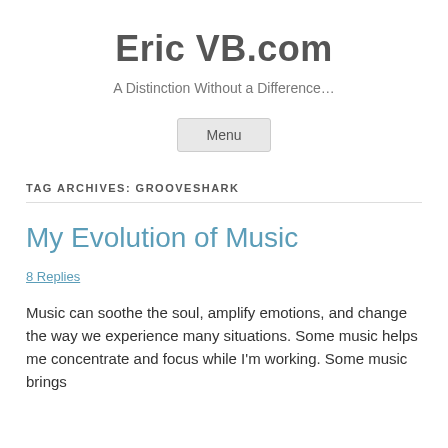Eric VB.com
A Distinction Without a Difference…
Menu
TAG ARCHIVES: GROOVESHARK
My Evolution of Music
8 Replies
Music can soothe the soul, amplify emotions, and change the way we experience many situations.  Some music helps me concentrate and focus while I'm working.  Some music brings